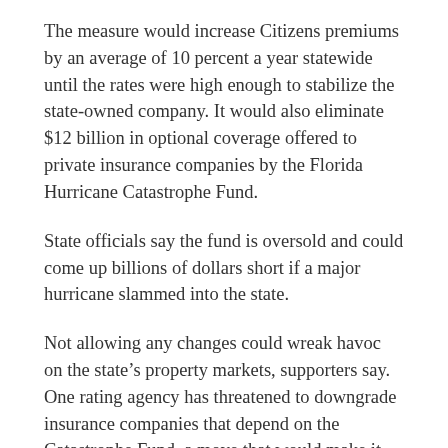The measure would increase Citizens premiums by an average of 10 percent a year statewide until the rates were high enough to stabilize the state-owned company. It would also eliminate $12 billion in optional coverage offered to private insurance companies by the Florida Hurricane Catastrophe Fund.
State officials say the fund is oversold and could come up billions of dollars short if a major hurricane slammed into the state.
Not allowing any changes could wreak havoc on the state’s property markets, supporters say. One rating agency has threatened to downgrade insurance companies that depend on the Catastrophe Fund, a move that would make it more difficult to obtain a mortgage in Florida.
The Citizens rate freeze, put in place after the